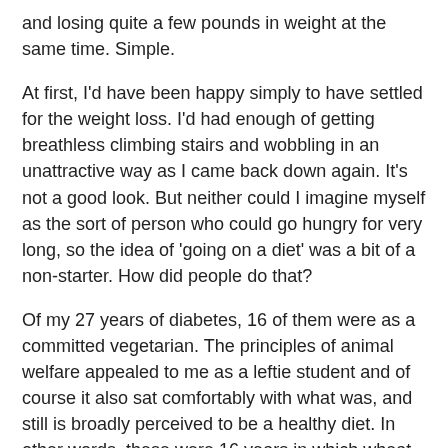and losing quite a few pounds in weight at the same time. Simple.
At first, I'd have been happy simply to have settled for the weight loss. I'd had enough of getting breathless climbing stairs and wobbling in an unattractive way as I came back down again. It's not a good look. But neither could I imagine myself as the sort of person who could go hungry for very long, so the idea of 'going on a diet' was a bit of a non-starter. How did people do that?
Of my 27 years of diabetes, 16 of them were as a committed vegetarian. The principles of animal welfare appealed to me as a leftie student and of course it also sat comfortably with what was, and still is broadly perceived to be a healthy diet. In other words, these were 16 years in which wheat, rice and potato were the daddies. Breakfast would invariably be cereal or toast, lunch a sandwich, pizza or something under the 'convenience' label. Dinner of course almost invariably had to involve pasta. Oh, come on, I was a student for Christ's sake!